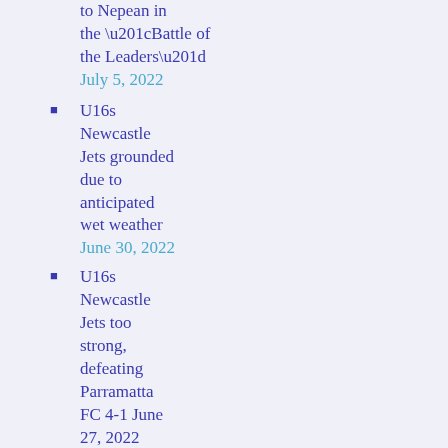to Nepean in the “Battle of the Leaders” July 5, 2022
U16s Newcastle Jets grounded due to anticipated wet weather June 30, 2022
U16s Newcastle Jets too strong, defeating Parramatta FC 4-1 June 27, 2022
Round 19: U16s Newcastle Jets travel away to